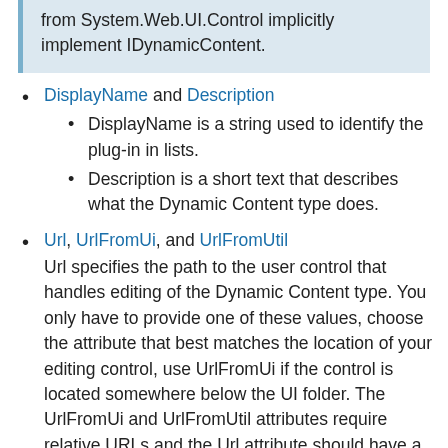from System.Web.UI.Control implicitly implement IDynamicContent.
DisplayName and Description
DisplayName is a string used to identify the plug-in in lists.
Description is a short text that describes what the Dynamic Content type does.
Url, UrlFromUi, and UrlFromUtil
Url specifies the path to the user control that handles editing of the Dynamic Content type. You only have to provide one of these values, choose the attribute that best matches the location of your editing control, use UrlFromUi if the control is located somewhere below the UI folder. The UrlFromUi and UrlFromUtil attributes require relative URLs and the Url attribute should have a application relative URL (~SomeFolder/MyEditControl.ascx).